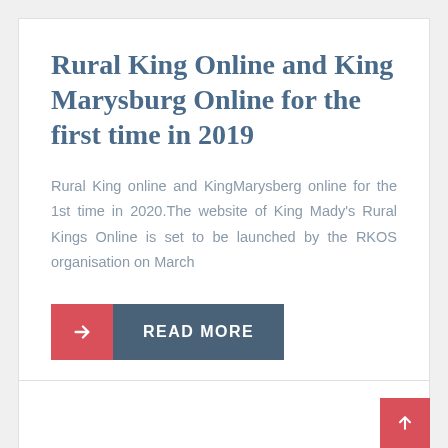Rural King Online and King Marysburg Online for the first time in 2019
Rural King online and KingMarysberg online for the 1st time in 2020.The website of King Mady's Rural Kings Online is set to be launched by the RKOS organisation on March
READ MORE